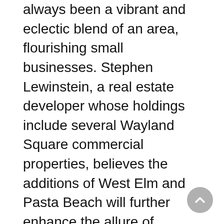always been a vibrant and eclectic blend of an area, flourishing small businesses. Stephen Lewinstein, a real estate developer whose holdings include several Wayland Square commercial properties, believes the additions of West Elm and Pasta Beach will further enhance the allure of Wayland Square, stating: “Together, they will bring the Square to a new level as a boutique shopping and dining destination. West Elm’s vast drawing power will bring a multitude of new shoppers to the Square. Pasta Beach provides an authentic Italian dining experience with its imported ovens and chefs.”
The Wayland Square Merchants Association, a non-profit organization comprised of small business owners whose goal is to positively promote Wayland Square as a shopping and dining destination, is pleased to welcome West Elm and Pasta Beach to the neighborhood.